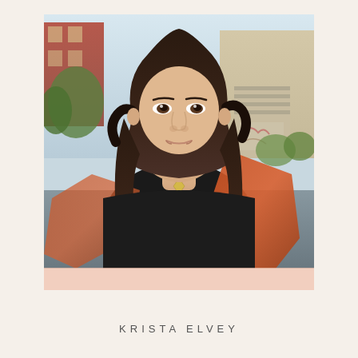[Figure (photo): Portrait photograph of a young woman with long dark wavy hair, wearing a black tank top and an orange/rust colored cardigan, with a gold geometric pendant necklace. She is standing outdoors in an alley/urban area with buildings and graffiti visible in the background. The lighting suggests late afternoon/golden hour.]
KRISTA ELVEY